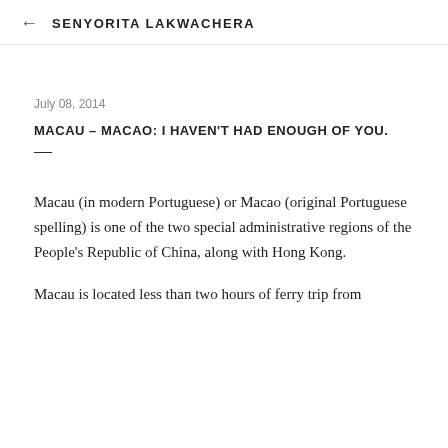← SENYORITA LAKWACHERA
July 08, 2014
MACAU – MACAO: I HAVEN'T HAD ENOUGH OF YOU.
—
Macau (in modern Portuguese) or Macao (original Portuguese spelling) is one of the two special administrative regions of the People's Republic of China, along with Hong Kong.
Macau is located less than two hours of ferry trip from